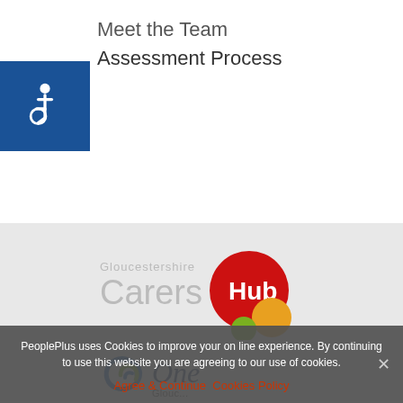Meet the Team
Assessment Process
[Figure (logo): Accessibility wheelchair icon on blue background square]
[Figure (logo): Gloucestershire Carers Hub logo with red, yellow, and green circles]
[Figure (logo): One Gloucestershire logo with blue swirl and italic text]
PeoplePlus uses Cookies to improve your on line experience. By continuing to use this website you are agreeing to our use of cookies.
Agree & Continue   Cookies Policy